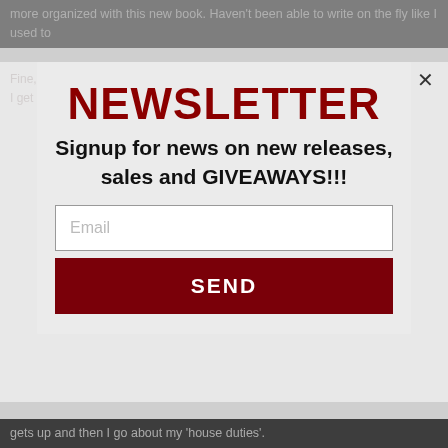more organized with this new book. Haven't been able to write on the fly like I used to
NEWSLETTER
Signup for news on new releases, sales and GIVEAWAYS!!!
Email
SEND
gets up and then I go about my 'house duties'.